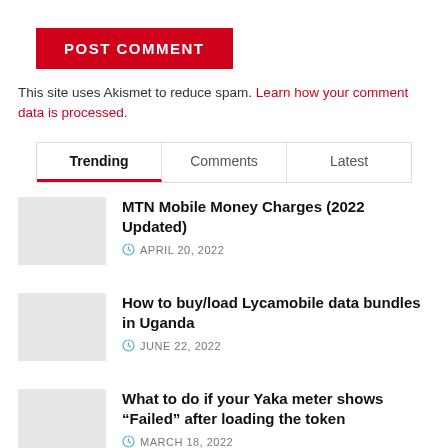[Figure (other): Red POST COMMENT button]
This site uses Akismet to reduce spam. Learn how your comment data is processed.
Trending | Comments | Latest tabs
MTN Mobile Money Charges (2022 Updated)
APRIL 20, 2022
How to buy/load Lycamobile data bundles in Uganda
JUNE 22, 2022
What to do if your Yaka meter shows “Failed” after loading the token
MARCH 18, 2022